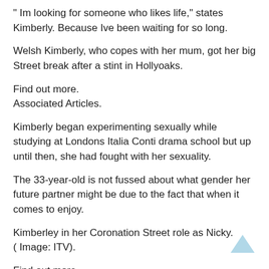" Im looking for someone who likes life," states Kimberly. Because Ive been waiting for so long.
Welsh Kimberly, who copes with her mum, got her big Street break after a stint in Hollyoaks.
Find out more.
Associated Articles.
Kimberly began experimenting sexually while studying at Londons Italia Conti drama school but up until then, she had fought with her sexuality.
The 33-year-old is not fussed about what gender her future partner might be due to the fact that when it comes to enjoy.
Kimberley in her Coronation Street role as Nicky.
( Image: ITV).
Find out more.